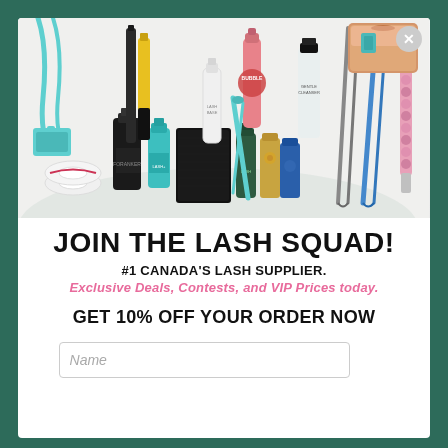[Figure (photo): A collage of lash extension and beauty products including tweezers, adhesives, brushes, mascara, primers, tape, and a rose gold cosmetic bag arranged on a light background]
JOIN THE LASH SQUAD!
#1 CANADA'S LASH SUPPLIER.
Exclusive Deals, Contests, and VIP Prices today.
GET 10% OFF YOUR ORDER NOW
Name